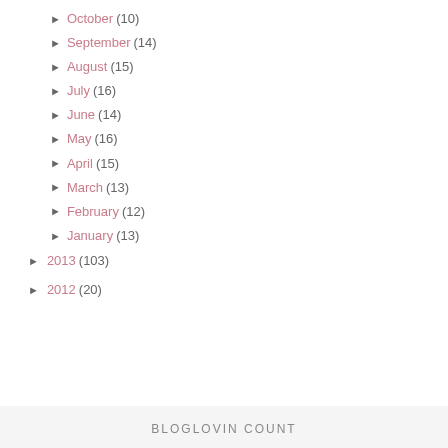► October (10)
► September (14)
► August (15)
► July (16)
► June (14)
► May (16)
► April (15)
► March (13)
► February (12)
► January (13)
► 2013 (103)
► 2012 (20)
BLOGLOVIN COUNT